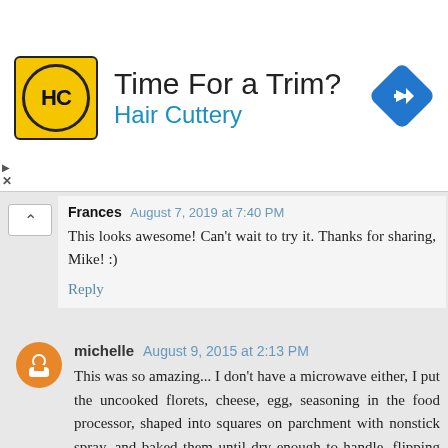[Figure (advertisement): Hair Cuttery ad banner with yellow HC logo, 'Time For a Trim?' headline, blue 'Hair Cuttery' subtext, and blue diamond arrow icon on the right]
Frances August 7, 2019 at 7:40 PM
This looks awesome! Can't wait to try it. Thanks for sharing, Mike! :)
Reply
michelle August 9, 2015 at 2:13 PM
This was so amazing... I don't have a microwave either, I put the uncooked florets, cheese, egg, seasoning in the food processor, shaped into squares on parchment with nonstick spray, and baked them until dry enough to handle, flipping once during baking. Worked nicely and tasted so awesome, thank you for an amazing recipe! Can't wait to try out other things with cauliflower crust.